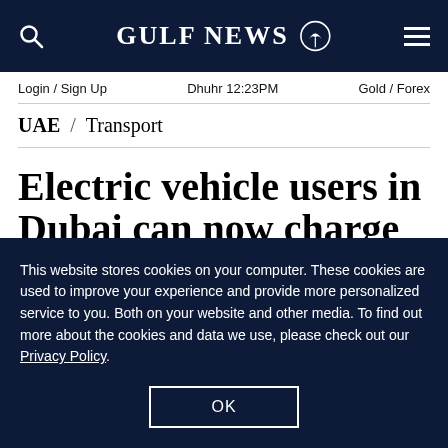GULF NEWS
Login / Sign Up   Dhuhr 12:23PM   Gold / Forex
UAE / Transport
Electric vehicle users in Dubai can now charge their vehicles at Green Charger
This website stores cookies on your computer. These cookies are used to improve your experience and provide more personalized service to you. Both on your website and other media. To find out more about the cookies and data we use, please check out our Privacy Policy.
OK